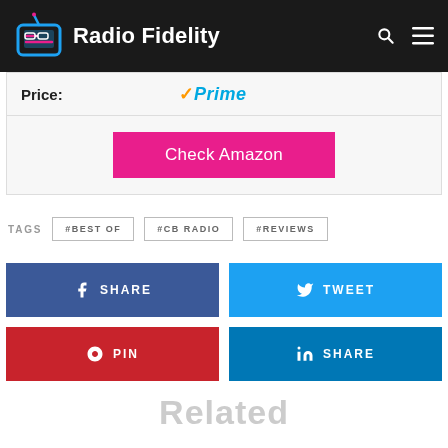Radio Fidelity
| Price: | Prime |
| --- | --- |
|  | Check Amazon |
#BEST OF
#CB RADIO
#REVIEWS
SHARE (Facebook)
TWEET
PIN
SHARE (LinkedIn)
Related